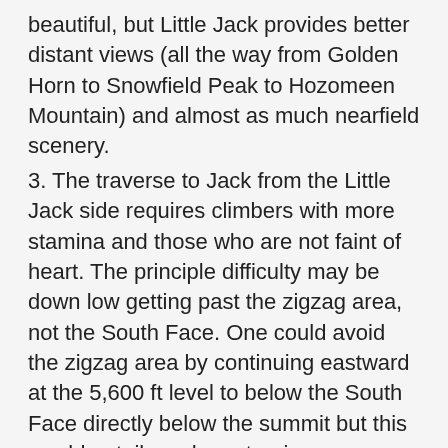beautiful, but Little Jack provides better distant views (all the way from Golden Horn to Snowfield Peak to Hozomeen Mountain) and almost as much nearfield scenery.
3. The traverse to Jack from the Little Jack side requires climbers with more stamina and those who are not faint of heart. The principle difficulty may be down low getting past the zigzag area, not the South Face. One could avoid the zigzag area by continuing eastward at the 5,600 ft level to below the South Face directly below the summit but this would entail much contouring on alternately brushy, forested, and cliffy terrain. It just did not look feasible to us.
4. The more people in your party, the greater the risk of injury due to rockfall. It is darn near impossible to not kick rocks down the mountain. A party of two would be best. A party of four or more might do well to split into two groups and go down different gullies.
5. The snowfield(s) below the South Face are steep.